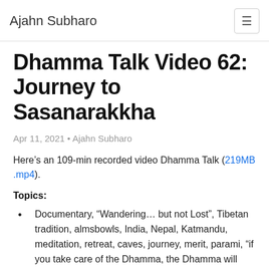Ajahn Subharo
Dhamma Talk Video 62: Journey to Sasanarakkha
Apr 11, 2021 • Ajahn Subharo
Here's an 109-min recorded video Dhamma Talk (219MB .mp4).
Topics:
Documentary, “Wandering… but not Lost”, Tibetan tradition, almsbowls, India, Nepal, Katmandu, meditation, retreat, caves, journey, merit, parami, “if you take care of the Dhamma, the Dhamma will take care of you”, Ajahn Chah Lineage, Abhayagiri,